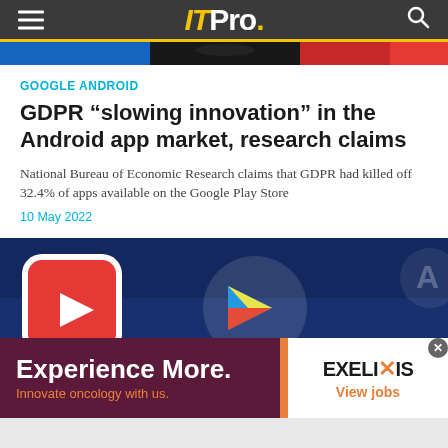ITPro.
[Figure (photo): Partial header image strip with blue, dark, red, and yellow color bands]
GOOGLE ANDROID
GDPR “slowing innovation” in the Android app market, research claims
National Bureau of Economic Research claims that GDPR had killed off 32.4% of apps available on the Google Play Store
10 May 2022
[Figure (photo): Close-up photo of Android app icons including YouTube (red play button) and Google Play Store on a blue background]
[Figure (other): Advertisement banner: Experience More. Innovate oncology with us. EXELIXIS View jobs]